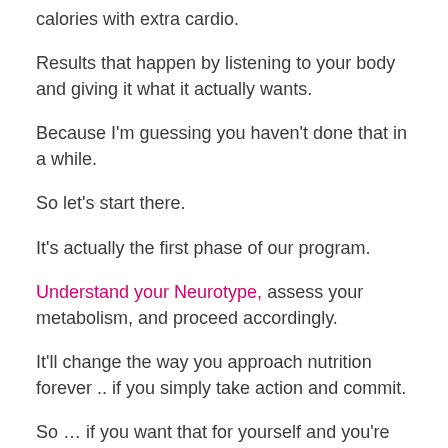calories with extra cardio.
Results that happen by listening to your body and giving it what it actually wants.
Because I'm guessing you haven't done that in a while.
So let's start there.
It's actually the first phase of our program.
Understand your Neurotype, assess your metabolism, and proceed accordingly.
It'll change the way you approach nutrition forever .. if you simply take action and commit.
So … if you want that for yourself and you're ready to ditch the 'all or nothing' mindset, the next step is simple … shoot me a private